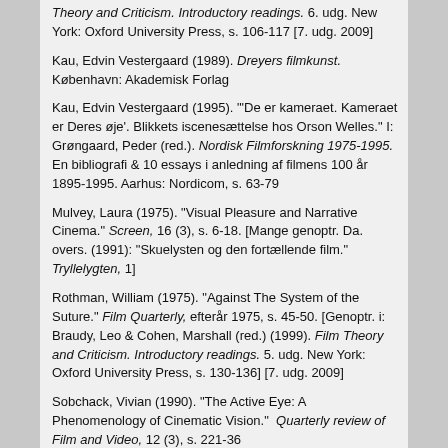Theory and Criticism. Introductory readings. 6. udg. New York: Oxford University Press, s. 106-117 [7. udg. 2009]
Kau, Edvin Vestergaard (1989). Dreyers filmkunst. København: Akademisk Forlag
Kau, Edvin Vestergaard (1995). "'De er kameraet. Kameraet er Deres øje'. Blikkets iscenesættelse hos Orson Welles." I: Grøngaard, Peder (red.). Nordisk Filmforskning 1975-1995. En bibliografi & 10 essays i anledning af filmens 100 år 1895-1995. Aarhus: Nordicom, s. 63-79
Mulvey, Laura (1975). "Visual Pleasure and Narrative Cinema." Screen, 16 (3), s. 6-18. [Mange genoptr. Da. overs. (1991): "Skuelysten og den fortællende film." Tryllelygten, 1]
Rothman, William (1975). "Against The System of the Suture." Film Quarterly, efterår 1975, s. 45-50. [Genoptr. i: Braudy, Leo & Cohen, Marshall (red.) (1999). Film Theory and Criticism. Introductory readings. 5. udg. New York: Oxford University Press, s. 130-136] [7. udg. 2009]
Sobchack, Vivian (1990). "The Active Eye: A Phenomenology of Cinematic Vision." Quarterly review of Film and Video, 12 (3), s. 221-36
Sobchack, Vivian (1992). The Address of the Eye. A Phenomenology of Film Experience. Princeton, N.J.: Princeton University Press